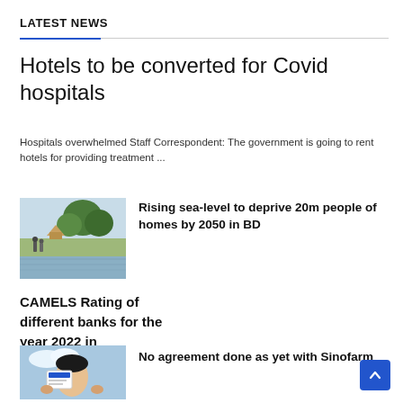LATEST NEWS
Hotels to be converted for Covid hospitals
Hospitals overwhelmed Staff Correspondent: The government is going to rent hotels for providing treatment ...
[Figure (photo): People standing in floodwater near thatched huts with lush trees in background]
Rising sea-level to deprive 20m people of homes by 2050 in BD
CAMELS Rating of different banks for the year 2022 in Bangladesh
[Figure (photo): Person holding up a document or card]
No agreement done as yet with Sinofarm